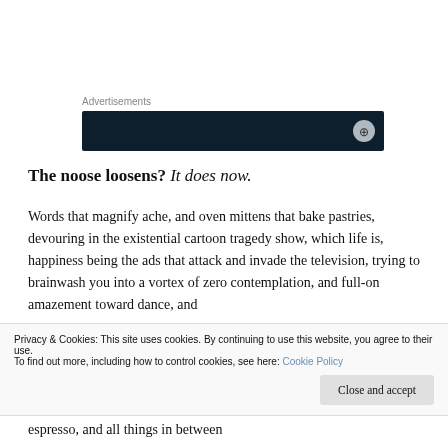Advertisements
[Figure (other): Dark navy blue advertisement banner with a circular icon on the right side]
The noose loosens? It does now.
Words that magnify ache, and oven mittens that bake pastries, devouring in the existential cartoon tragedy show, which life is, happiness being the ads that attack and invade the television, trying to brainwash you into a vortex of zero contemplation, and full-on amazement toward dance, and
Privacy & Cookies: This site uses cookies. By continuing to use this website, you agree to their use.
To find out more, including how to control cookies, see here: Cookie Policy
espresso, and all things in between